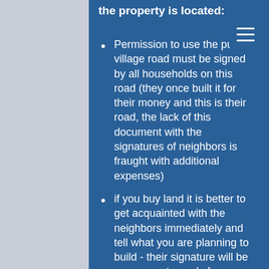the property is located:
Permission to use the public village road must be signed by all households on this road (they once built it for their money and this is their road, the lack of this document with the signatures of neighbors is fraught with additional expenses)
if you buy land it is better to get acquainted with the neighbors immediately and tell what you are planning to build - their signature will be necessary to apply for a building permit
you need to measure the ground yourself and make sure that the dimensions match the ones indicated in the certificate (if it differs match, but you need this